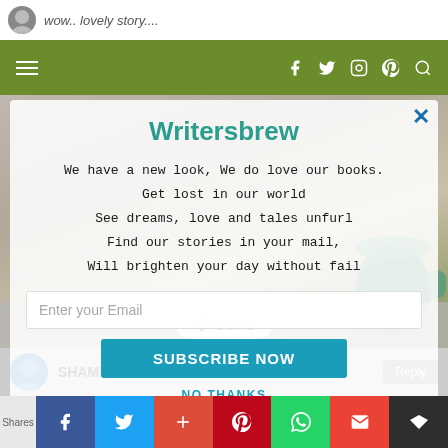wow.. lovely story....
[Figure (screenshot): Navigation bar with hamburger menu, social icons (Facebook, Twitter, Instagram, Pinterest, Search) on olive/green background]
Writersbrew
We have a new look, We do love our books.
Get lost in our world
See dreams, love and tales unfurl
Find our stories in your mail,
Will brighten your day without fail
Enter your Email
SUBSCRIBE NOW
NO THANKS
SUMO
SHAMZ
Reply
Shares | Facebook | Twitter | Google+ | Pinterest | WhatsApp | Mail | Sumo